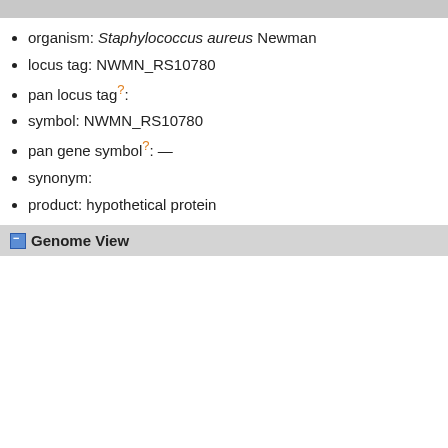organism: Staphylococcus aureus Newman
locus tag: NWMN_RS10780
pan locus tag?:
symbol: NWMN_RS10780
pan gene symbol?:  —
synonym:
product: hypothetical protein
Genome View